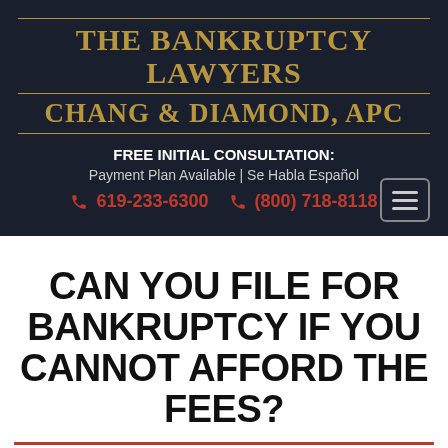THE BANKRUPTCY LAWYERS CHANG & DIAMOND, APC
FREE INITIAL CONSULTATION: Payment Plan Available | Se Habla Español
619-233-6300  (800) 718-8118
CAN YOU FILE FOR BANKRUPTCY IF YOU CANNOT AFFORD THE FEES?
April 7